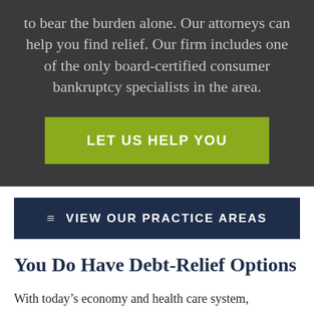to bear the burden alone. Our attorneys can help you find relief. Our firm includes one of the only board-certified consumer bankruptcy specialists in the area.
LET US HELP YOU
VIEW OUR PRACTICE AREAS
You Do Have Debt-Relief Options
With today's economy and health care system,